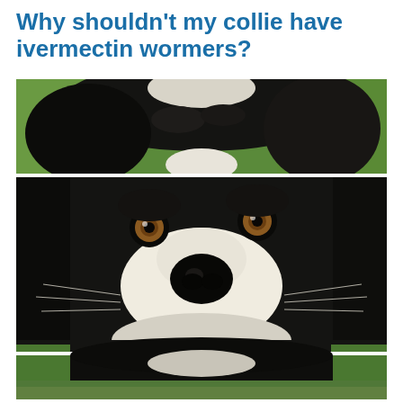Why shouldn't my collie have ivermectin wormers?
[Figure (photo): Three cropped strips of a close-up photograph of a Border Collie dog with black and white fur, brown eyes, and a white blaze on its nose, set against a green grass background. The three horizontal strips show the top of the head, the full face close-up, and the lower face/chin area respectively.]